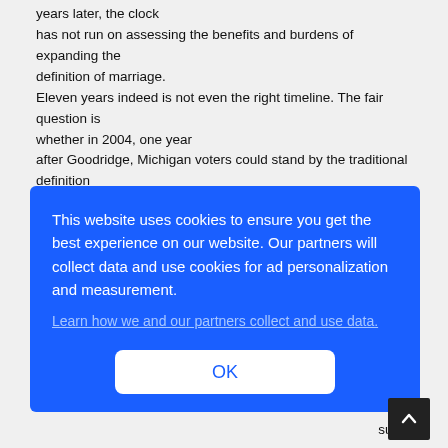years later, the clock has not run on assessing the benefits and burdens of expanding the definition of marriage. Eleven years indeed is not even the right timeline. The fair question is whether in 2004, one year after Goodridge, Michigan voters could stand by the traditional definition of marriage. How can we say that the voters acted irrationally for sticking with the seen benefits of thousands of years of adherence to the traditional definition of marriage in the face of one ... asked, ... erest ... sured
[Figure (screenshot): Cookie consent overlay on a blue background with white text reading 'This website uses cookies to ensure you get the best experience on our website. Our partners will collect data and use cookies for ad personalization and measurement.' followed by a link 'Learn how we and our partners collect and use data.' and an OK button.]